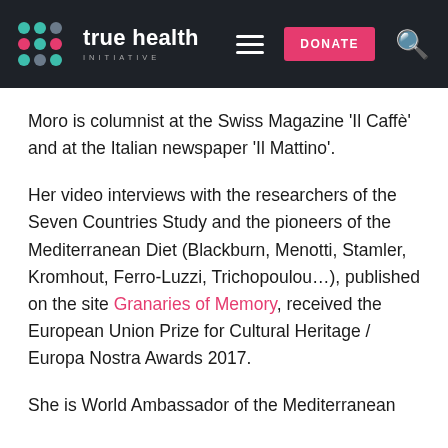true health INITIATIVE — DONATE [nav]
Moro is columnist at the Swiss Magazine 'Il Caffè' and at the Italian newspaper 'Il Mattino'.
Her video interviews with the researchers of the Seven Countries Study and the pioneers of the Mediterranean Diet (Blackburn, Menotti, Stamler, Kromhout, Ferro-Luzzi, Trichopoulou…), published on the site Granaries of Memory, received the European Union Prize for Cultural Heritage / Europa Nostra Awards 2017.
She is World Ambassador of the Mediterranean